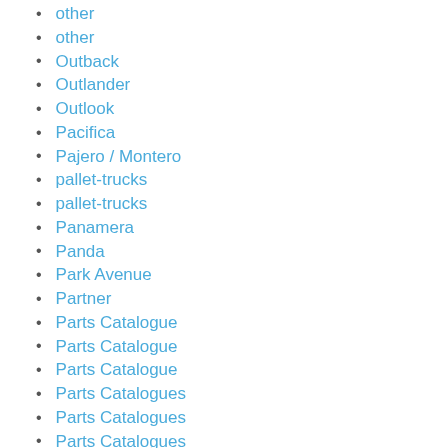other
other
Outback
Outlander
Outlook
Pacifica
Pajero / Montero
pallet-trucks
pallet-trucks
Panamera
Panda
Park Avenue
Partner
Parts Catalogue
Parts Catalogue
Parts Catalogue
Parts Catalogues
Parts Catalogues
Parts Catalogues
Parts Catalogues
Parts Catalogues
Parts Catalogues
Parts Catalogues